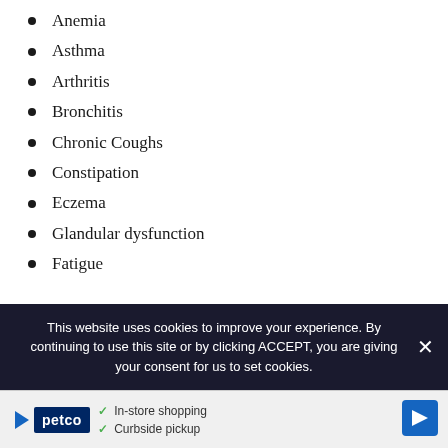Anemia
Asthma
Arthritis
Bronchitis
Chronic Coughs
Constipation
Eczema
Glandular dysfunction
Fatigue
This website uses cookies to improve your experience. By continuing to use this site or by clicking ACCEPT, you are giving your consent for us to set cookies.
[Figure (other): Petco advertisement banner with in-store shopping and curbside pickup options]